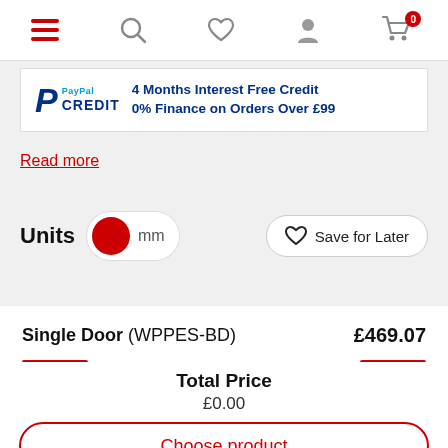[Figure (screenshot): Top navigation bar with hamburger menu (red), search icon, heart icon, user icon, and shopping cart icon with badge showing 0]
[Figure (infographic): PayPal Credit banner: 4 Months Interest Free Credit, 0% Finance on Orders Over £99]
Read more
Units  mm
Save for Later
Single Door (WPPES-BD)  £469.07
Total Price
£0.00
Choose product